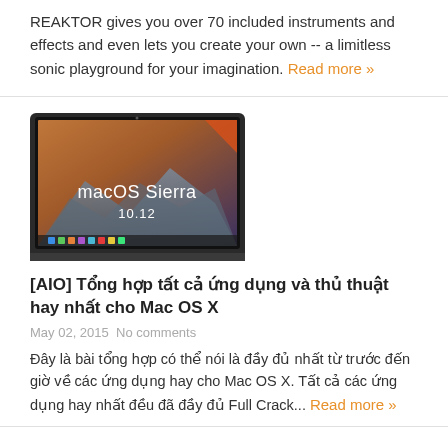REAKTOR gives you over 70 included instruments and effects and even lets you create your own -- a limitless sonic playground for your imagination. Read more »
[Figure (screenshot): MacBook displaying macOS Sierra 10.12 splash screen with mountain background]
[AIO] Tổng hợp tất cả ứng dụng và thủ thuật hay nhất cho Mac OS X
May 02, 2015   No comments
Đây là bài tổng hợp có thể nói là đầy đủ nhất từ trước đến giờ về các ứng dụng hay cho Mac OS X. Tất cả các ứng dụng hay nhất đều đã đầy đủ Full Crack... Read more »